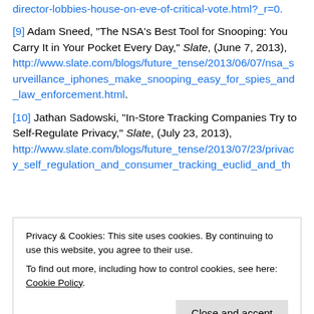director-lobbies-house-on-eve-of-critical-vote.html?_r=0.
[9] Adam Sneed, "The NSA's Best Tool for Snooping: You Carry It in Your Pocket Every Day," Slate, (June 7, 2013), http://www.slate.com/blogs/future_tense/2013/06/07/nsa_surveillance_iphones_make_snooping_easy_for_spies_and_law_enforcement.html.
[10] Jathan Sadowski, "In-Store Tracking Companies Try to Self-Regulate Privacy," Slate, (July 23, 2013), http://www.slate.com/blogs/future_tense/2013/07/23/privacy_self_regulation_and_consumer_tracking_euclid_and_th
Privacy & Cookies: This site uses cookies. By continuing to use this website, you agree to their use. To find out more, including how to control cookies, see here: Cookie Policy
know-what-you-did-last-errand/277785/.